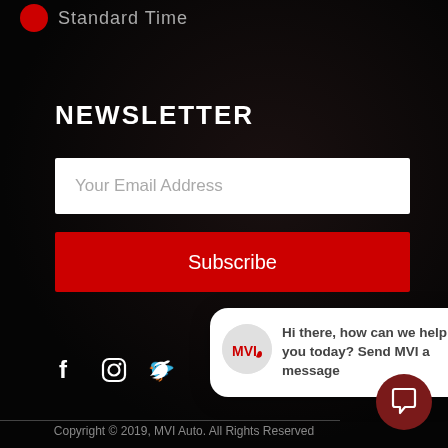Standard Time
NEWSLETTER
Your Email Address
Subscribe
close
[Figure (infographic): Social media icons: Facebook (f), Instagram, Twitter bird]
[Figure (infographic): MVI Auto chat bubble saying: Hi there, how can we help you today? Send MVI a message]
Copyright © 2019, MVI Auto. All Rights Reserved
[Figure (infographic): Dark red circular chat button with speech bubble icon]